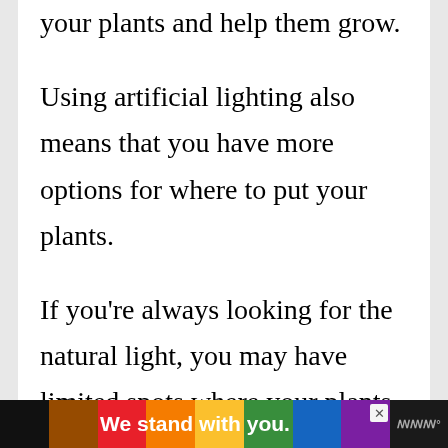your plants and help them grow.
Using artificial lighting also means that you have more options for where to put your plants.
If you're always looking for the natural light, you may have limited spots where your plants will grow best depending on how much sunlight your home gets.
[Figure (other): Advertisement banner at bottom of page showing rainbow pride stripes with text 'We stand with you.' in white bold font, a close button, and a logo on right side.]